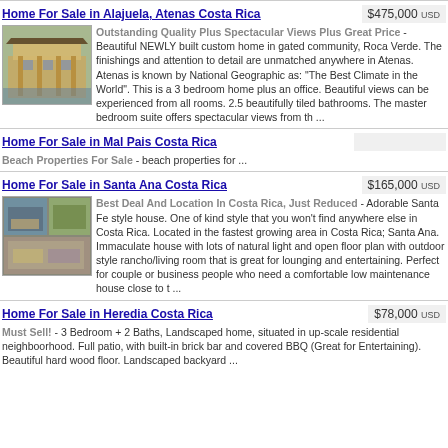Home For Sale in Alajuela, Atenas Costa Rica
$475,000 USD
[Figure (photo): Exterior photo of a newly built custom home in gated community Roca Verde, Atenas]
Outstanding Quality Plus Spectacular Views Plus Great Price - Beautiful NEWLY built custom home in gated community, Roca Verde. The finishings and attention to detail are unmatched anywhere in Atenas. Atenas is known by National Geographic as: "The Best Climate in the World". This is a 3 bedroom home plus an office. Beautiful views can be experienced from all rooms. 2.5 beautifully tiled bathrooms. The master bedroom suite offers spectacular views from th ...
Home For Sale in Mal Pais Costa Rica
Beach Properties For Sale - beach properties for ...
Home For Sale in Santa Ana Costa Rica
$165,000 USD
[Figure (photo): Photo collage of Santa Ana style house, showing exterior and surroundings]
Best Deal And Location In Costa Rica, Just Reduced - Adorable Santa Fe style house. One of kind style that you won't find anywhere else in Costa Rica. Located in the fastest growing area in Costa Rica; Santa Ana. Immaculate house with lots of natural light and open floor plan with outdoor style rancho/living room that is great for lounging and entertaining. Perfect for couple or business people who need a comfortable low maintenance house close to t ...
Home For Sale in Heredia Costa Rica
$78,000 USD
Must Sell! - 3 Bedroom + 2 Baths, Landscaped home, situated in up-scale residential neighboorhood. Full patio, with built-in brick bar and covered BBQ (Great for Entertaining). Beautiful hard wood floor. Landscaped backyard ...